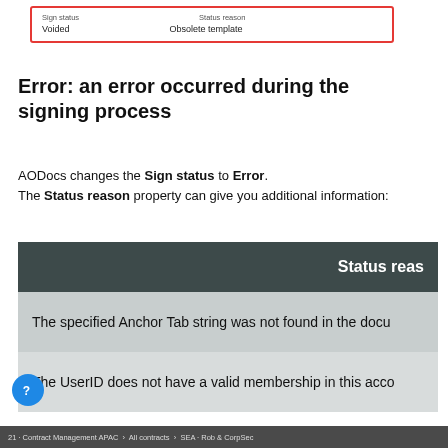[Figure (screenshot): Screenshot showing a form with 'Sign status: Voided' and 'Status reason: Obsolete template', highlighted with a red border]
Error: an error occurred during the signing process
AODocs changes the Sign status to Error. The Status reason property can give you additional information:
| Status reason |
| --- |
| The specified Anchor Tab string was not found in the docu... |
| The UserID does not have a valid membership in this acco... |
21 · Contract Management APAC · All contracts · SEA · Rob & CorpSec